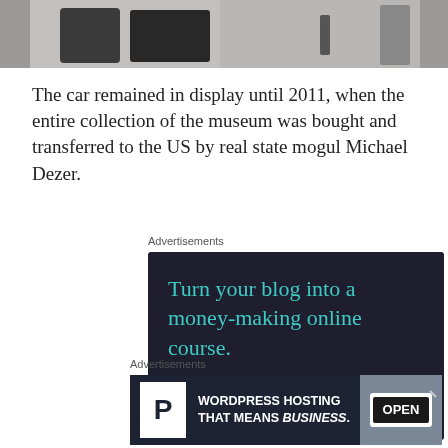[Figure (photo): Partial top view of a car interior or display, grayscale/dark tones, cropped view showing vehicle components.]
The car remained in display until 2011, when the entire collection of the museum was bought and transferred to the US by real state mogul Michael Dezer.
Advertisements
[Figure (infographic): Advertisement with dark navy background. Text reads: 'Turn your blog into a money-making online course.' with a teal 'Learn More' button.]
[Figure (other): Close button (X in circle) on the right side.]
Advertisements
[Figure (infographic): Advertisement for WordPress Hosting with dark background. White P logo, text 'WORDPRESS HOSTING THAT MEANS BUSINESS.' and an image of an OPEN sign on the right.]